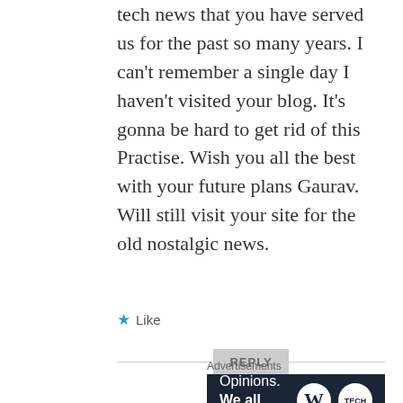tech news that you have served us for the past so many years. I can’t remember a single day I haven’t visited your blog. It’s gonna be hard to get rid of this Practise. Wish you all the best with your future plans Gaurav.
Will still visit your site for the old nostalgic news.
★ Like
REPLY
Advertisements
[Figure (other): Advertisement banner with dark navy background. Left side shows text: 'Opinions.' on first line and 'We all have them!' in bold on second line. Right side shows WordPress logo (W in circle) and another circular logo.]